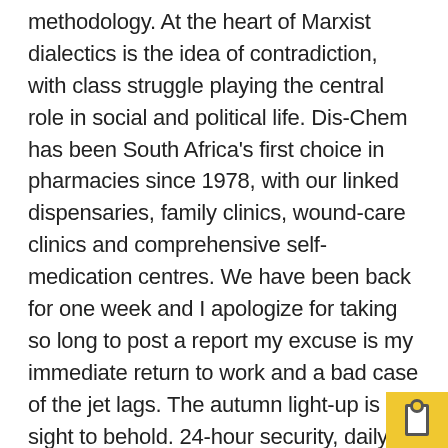methodology. At the heart of Marxist dialectics is the idea of contradiction, with class struggle playing the central role in social and political life. Dis-Chem has been South Africa's first choice in pharmacies since 1978, with our linked dispensaries, family clinics, wound-care clinics and comprehensive self-medication centres. We have been back for one week and I apologize for taking so long to post a report my excuse is my immediate return to work and a bad case of the jet lags. The autumn light-up is a sight to behold. 24-hour security, daily housekeeping, 24-hour front desk, luggage storage, Wi-Fi in public areas are just a few of the facilities that set Hotel Pertiwi Bisma 2 apart from other hotels in the city. 5 - Neutral luck. Nestled in the middle of the rainforest, Komaneka feels secluded from the hustle and bustle yet is still so close to the town (although we hardly left the hotel –… I underwent the